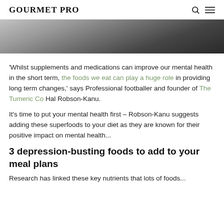GOURMET PRO
[Figure (photo): Dark interior photo showing what appears to be a room with a table or furniture on a wooden floor, partially cropped at the top of the page.]
‘Whilst supplements and medications can improve our mental health in the short term, the foods we eat can play a huge role in providing long term changes,’ says Professional footballer and founder of The Tumeric Co Hal Robson-Kanu.
It’s time to put your mental health first – Robson-Kanu suggests adding these superfoods to your diet as they are known for their positive impact on mental health...
3 depression-busting foods to add to your meal plans
Research has linked these key nutrients that lots of foods...